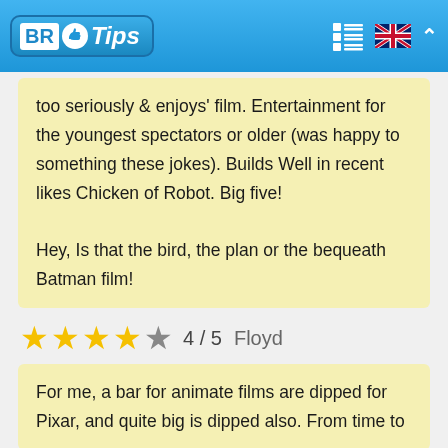BR Tips
too seriously & enjoys' film. Entertainment for the youngest spectators or older (was happy to something these jokes). Builds Well in recent likes Chicken of Robot. Big five!

Hey, Is that the bird, the plan or the bequeath Batman film!
4 / 5  Floyd
For me, a bar for animate films are dipped for Pixar, and quite big is dipped also. From time to